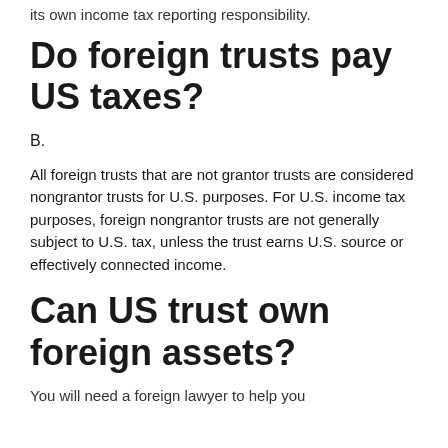its own income tax reporting responsibility.
Do foreign trusts pay US taxes?
B.
All foreign trusts that are not grantor trusts are considered nongrantor trusts for U.S. purposes. For U.S. income tax purposes, foreign nongrantor trusts are not generally subject to U.S. tax, unless the trust earns U.S. source or effectively connected income.
Can US trust own foreign assets?
You will need a foreign lawyer to help you...